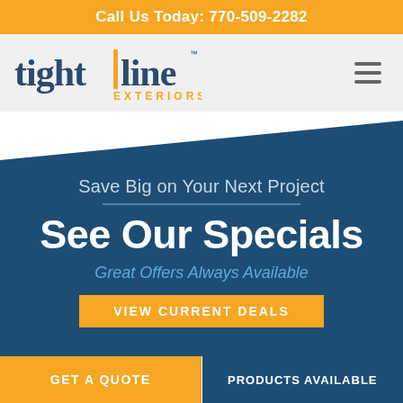Call Us Today: 770-509-2282
[Figure (logo): Tight Line Exteriors logo — stylized text 'tight|line' in dark blue with orange vertical bar separator, and 'EXTERIORS' in orange below]
Save Big on Your Next Project
See Our Specials
Great Offers Always Available
VIEW CURRENT DEALS
GET A QUOTE
PRODUCTS AVAILABLE